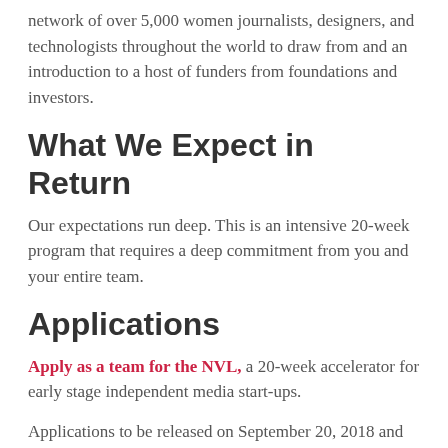network of over 5,000 women journalists, designers, and technologists throughout the world to draw from and an introduction to a host of funders from foundations and investors.
What We Expect in Return
Our expectations run deep. This is an intensive 20-week program that requires a deep commitment from you and your entire team.
Applications
Apply as a team for the NVL, a 20-week accelerator for early stage independent media start-ups.
Applications to be released on September 20, 2018 and due no later than November 20, 2018 at 11:59 PST.